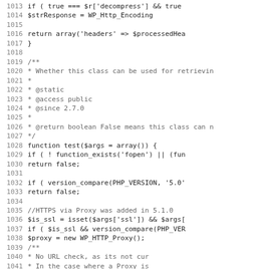[Figure (screenshot): Source code listing showing PHP code lines 1013-1044, with line numbers on the left and code in monospace font. The code shows HTTP class methods including a test() function with SSL/proxy checks.]